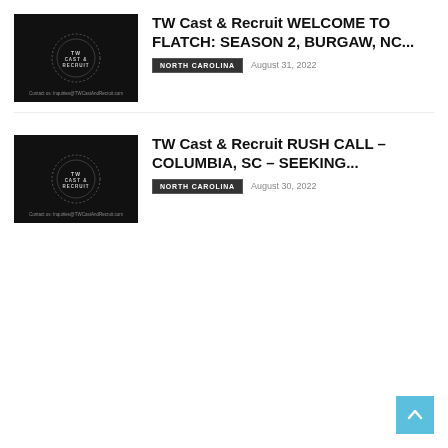[Figure (logo): TW Cast & Recruit logo on black background with circular badge design and contact email at bottom]
TW Cast & Recruit WELCOME TO FLATCH: SEASON 2, BURGAW, NC...
NORTH CAROLINA   August 31, 2022
[Figure (logo): TW Cast & Recruit logo on black background with circular badge design and contact email at bottom]
TW Cast & Recruit RUSH CALL – COLUMBIA, SC – SEEKING...
NORTH CAROLINA   August 30, 2022